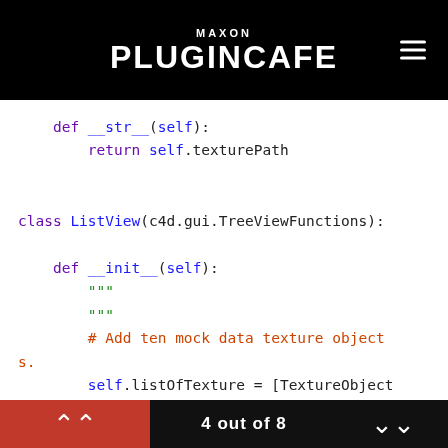MAXON PLUGINCAFE
def __str__(self):
        return self.texturePath

class ListView(c4d.gui.TreeViewFunctions):

    def __init__(self):
        """
        """
        # Add ten mock data texture objects.
        self.listOfTexture = [TextureObject() for _ in range(10)]

    def IsResizeColAllowed(self, root, userdata, lColID):
4 out of 8